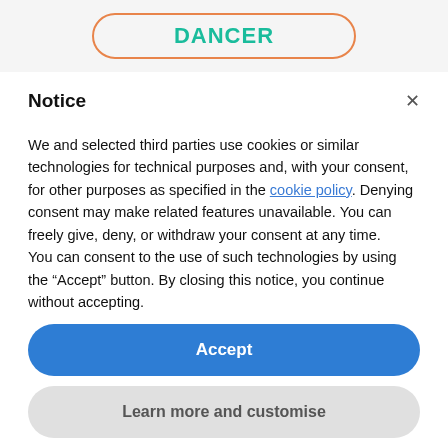[Figure (screenshot): Orange-bordered rounded button with teal text reading DANCER at the top of the page]
Notice
We and selected third parties use cookies or similar technologies for technical purposes and, with your consent, for other purposes as specified in the cookie policy. Denying consent may make related features unavailable. You can freely give, deny, or withdraw your consent at any time.
You can consent to the use of such technologies by using the “Accept” button. By closing this notice, you continue without accepting.
Accept
Learn more and customise